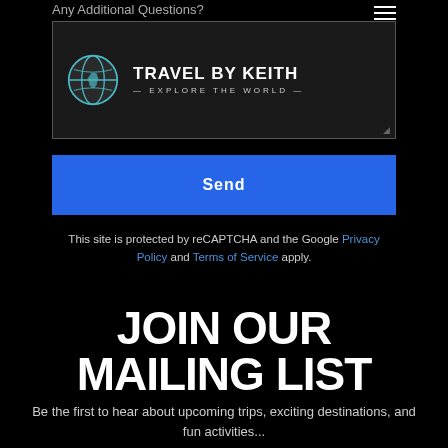Any Additional Questions?
[Figure (logo): Travel by Keith logo: globe icon with cyan/teal coloring on dark background, bold text 'TRAVEL BY KEITH' with tagline '— EXPLORE THE WORLD —']
Send
This site is protected by reCAPTCHA and the Google Privacy Policy and Terms of Service apply.
JOIN OUR MAILING LIST
Be the first to hear about upcoming trips, exciting destinations, and fun activities...